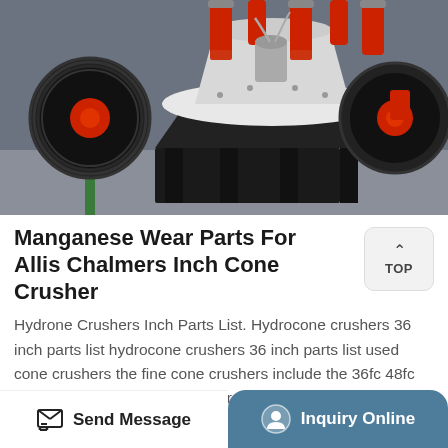[Figure (photo): Industrial cone crusher machine with red and white components, large black belt wheels on either side, red hydraulic cylinders on top, mounted on a black steel frame in a factory setting with green floor markings]
Manganese Wear Parts For Allis Chalmers Inch Cone Crusher
Hydrone Crushers Inch Parts List. Hydrocone crushers 36 inch parts list hydrocone crushers 36 inch parts list used cone crushers the fine cone crushers include the 36fc 48fc and 66fc the allis chalmers hydrocone cone crusher was the first to use hydraulic adjustment and get
Send Message  Inquiry Online